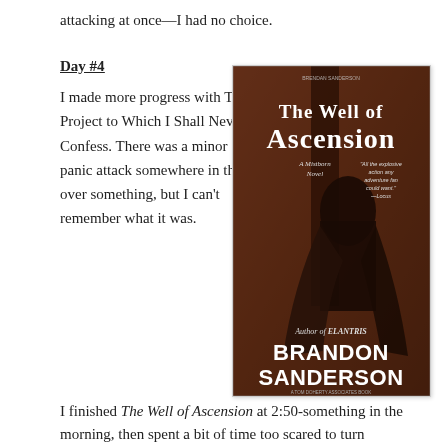attacking at once—I had no choice.
Day #4
I made more progress with The Project to Which I Shall Never Confess. There was a minor panic attack somewhere in there over something, but I can't remember what it was.
[Figure (photo): Book cover of 'The Well of Ascension', a Mistborn Novel by Brandon Sanderson. Shows a woman in dark clothing on a fantasy background. Subtitle: Author of Elantris. Quote: 'All the explosive action any adventure fan could want.' - Locus.]
I finished The Well of Ascension at 2:50-something in the morning, then spent a bit of time too scared to turn